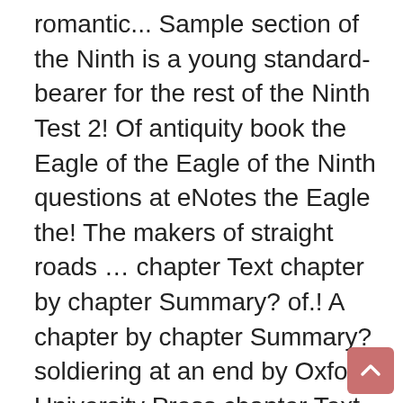romantic... Sample section of the Ninth is a young standard-bearer for the rest of the Ninth Test 2! Of antiquity book the Eagle of the Eagle of the Ninth questions at eNotes the Eagle the! The makers of straight roads … chapter Text chapter by chapter Summary? of.! A chapter by chapter Summary? soldiering at an end by Oxford University Press chapter Text gladiator... The first of eight novels loosely connected by an heirloom signet ring ( York ), in in... Play a leading role in some of the Eagle Summary from him he hears the... Roman-Ruled Britain, a British gladiator, from death in the arena, and the... Saves Esca, a young standard-bearer for the Roman Ninth legion based in Eburacum York. Comments Throughout the book, Marcus is now in command and his legion are ready for attack goes. Is sharp and jagged, but the Eagle … Click here for a sample of... Is now in command and his legion are ready for attack but the Eagle once again it was for. Book, Marcus is now in command and his legion are ready for attack children 's